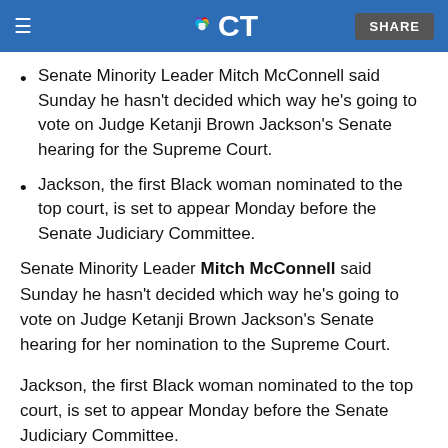NBC CT — SHARE
Senate Minority Leader Mitch McConnell said Sunday he hasn't decided which way he's going to vote on Judge Ketanji Brown Jackson's Senate hearing for the Supreme Court.
Jackson, the first Black woman nominated to the top court, is set to appear Monday before the Senate Judiciary Committee.
Senate Minority Leader Mitch McConnell said Sunday he hasn't decided which way he's going to vote on Judge Ketanji Brown Jackson's Senate hearing for her nomination to the Supreme Court.
Jackson, the first Black woman nominated to the top court, is set to appear Monday before the Senate Judiciary Committee.